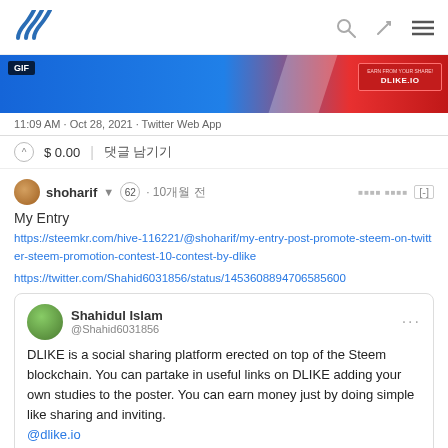Steem (SSS logo) | search, edit, menu icons
[Figure (screenshot): GIF banner image in blue and red with DLIKE.IO badge]
11:09 AM · Oct 28, 2021 · Twitter Web App
$ 0.00  |  댓글 남기기
shoharif ▼  62  · 10개월 전
My Entry
https://steemkr.com/hive-116221/@shoharif/my-entry-post-promote-steem-on-twitter-steem-promotion-contest-10-contest-by-dlike
https://twitter.com/Shahid6031856/status/1453608894706585600
Shahid Islam @Shahid6031856
DLIKE is a social sharing platform erected on top of the Steem blockchain. You can partake in useful links on DLIKE adding your own studies to the poster. You can earn money just by doing simple like sharing and inviting.
@dlike.io